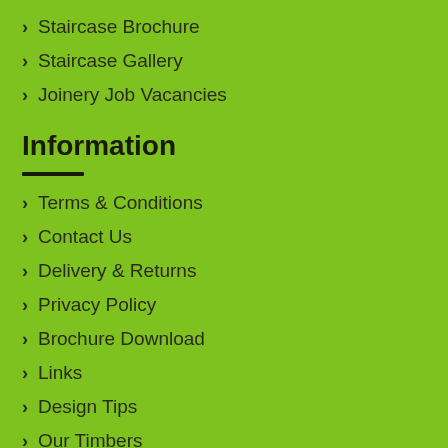Staircase Brochure
Staircase Gallery
Joinery Job Vacancies
Information
Terms & Conditions
Contact Us
Delivery & Returns
Privacy Policy
Brochure Download
Links
Design Tips
Our Timbers
Company